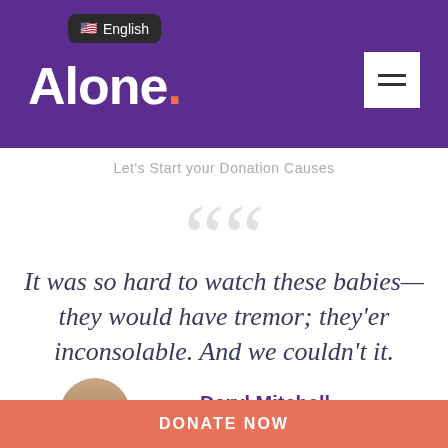Alone.
English
Let's Start your Donation Causes
““
It was so hard to watch these babies—they would have tremor; they'er inconsolable. And we couldn't it.
Daryl Mitchell
DONATE NOW